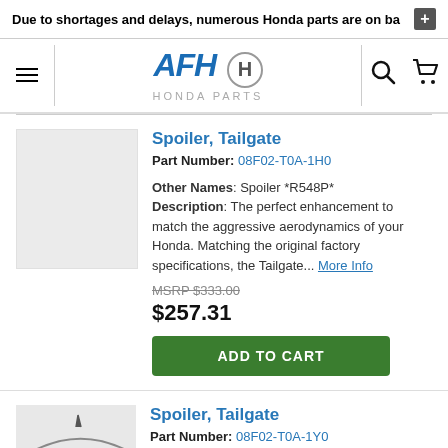Due to shortages and delays, numerous Honda parts are on ba
[Figure (logo): AFH Honda Parts logo with Honda H emblem]
Spoiler, Tailgate
Part Number: 08F02-T0A-1H0
Other Names: Spoiler *R548P* Description: The perfect enhancement to match the aggressive aerodynamics of your Honda. Matching the original factory specifications, the Tailgate... More Info
MSRP $333.00
$257.31
ADD TO CART
Spoiler, Tailgate
Part Number: 08F02-T0A-1Y0
Other Names: Spoiler *NH797M*